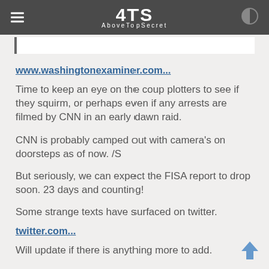4TS AboveTopSecret
www.washingtonexaminer.com...
Time to keep an eye on the coup plotters to see if they squirm, or perhaps even if any arrests are filmed by CNN in an early dawn raid.
CNN is probably camped out with camera's on doorsteps as of now. /S
But seriously, we can expect the FISA report to drop soon. 23 days and counting!
Some strange texts have surfaced on twitter.
twitter.com...
Will update if there is anything more to add.